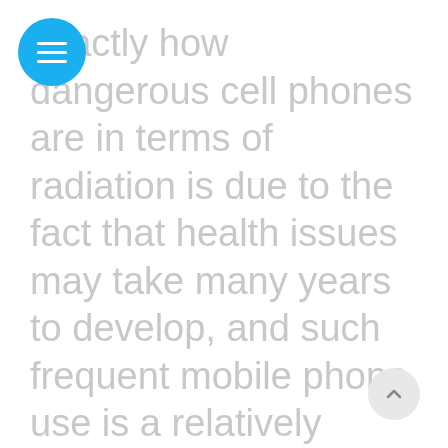exactly how dangerous cell phones are in terms of radiation is due to the fact that health issues may take many years to develop, and such frequent mobile phone use is a relatively recent phenomenon. However, it is known that electromagnetic fields can damage DNA, and such mutations may result in issues such as cancer. Since cell phones use to be to be optimized...